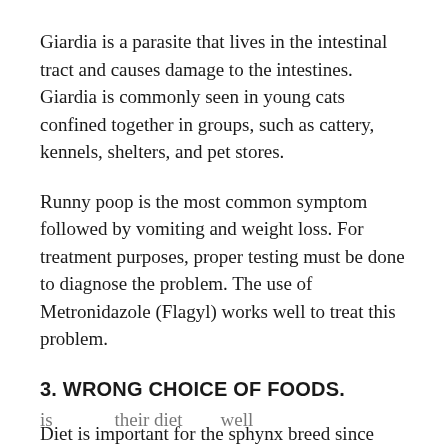Giardia is a parasite that lives in the intestinal tract and causes damage to the intestines. Giardia is commonly seen in young cats confined together in groups, such as cattery, kennels, shelters, and pet stores.
Runny poop is the most common symptom followed by vomiting and weight loss. For treatment purposes, proper testing must be done to diagnose the problem. The use of Metronidazole (Flagyl) works well to treat this problem.
3. WRONG CHOICE OF FOODS.
Diet is important for the sphynx breed since they are prone to all sorts of digestive issues. Normal store-bought will not be ideal, a raw-based diet or raw meals is...